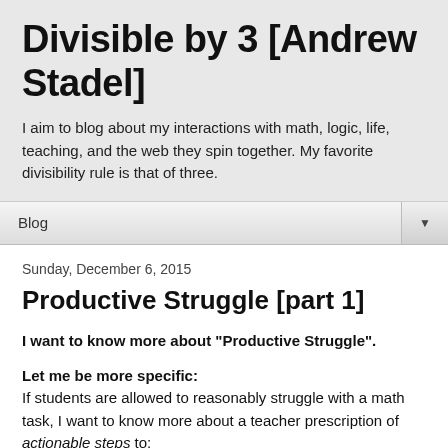Divisible by 3 [Andrew Stadel]
I aim to blog about my interactions with math, logic, life, teaching, and the web they spin together. My favorite divisibility rule is that of three.
Blog
Sunday, December 6, 2015
Productive Struggle [part 1]
I want to know more about "Productive Struggle".
Let me be more specific: If students are allowed to reasonably struggle with a math task, I want to know more about a teacher prescription of actionable steps to: